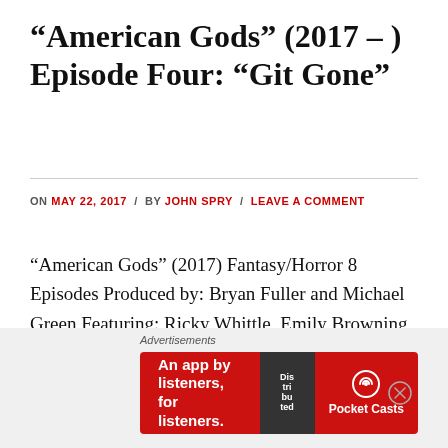“American Gods” (2017 – ) Episode Four: “Git Gone”
ON MAY 22, 2017 / BY JOHN SPRY / LEAVE A COMMENT
“American Gods” (2017) Fantasy/Horror 8 Episodes Produced by: Bryan Fuller and Michael Green Featuring: Ricky Whittle, Emily Browning, Crispin Glover, Bruce Langley, Yetide Badaki, Pablo Schreiber and Ian McShane The series focuses on Shadow Moon, a man serving three years in prison. With only days
Advertisements
[Figure (other): Advertisement banner for Pocket Casts app with red background. Text reads: An app by listeners, for listeners. Shows a phone with 'Distributed' podcast app and Pocket Casts logo.]